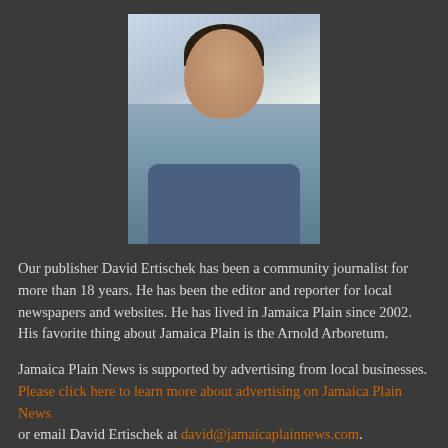[Figure (photo): Headshot photo of David Ertischek, a man in a blue shirt, dark hair, photographed outdoors with blurred background]
Our publisher David Ertischek has been a community journalist for more than 18 years. He has been the editor and reporter for local newspapers and websites. He has lived in Jamaica Plain since 2002. His favorite thing about Jamaica Plain is the Arnold Arboretum.
Jamaica Plain News is supported by advertising from local businesses. Please click here to learn more about advertising on Jamaica Plain News or email David Ertischek at david@jamaicaplainnews.com.